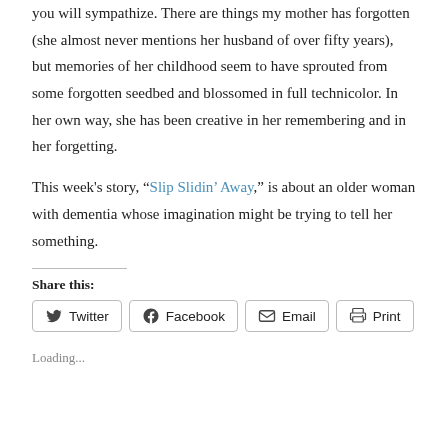you will sympathize. There are things my mother has forgotten (she almost never mentions her husband of over fifty years), but memories of her childhood seem to have sprouted from some forgotten seedbed and blossomed in full technicolor. In her own way, she has been creative in her remembering and in her forgetting.
This week's story, “Slip Slidin’ Away,” is about an older woman with dementia whose imagination might be trying to tell her something.
Share this:
[Figure (other): Social sharing buttons: Twitter, Facebook, Email, Print]
Loading...